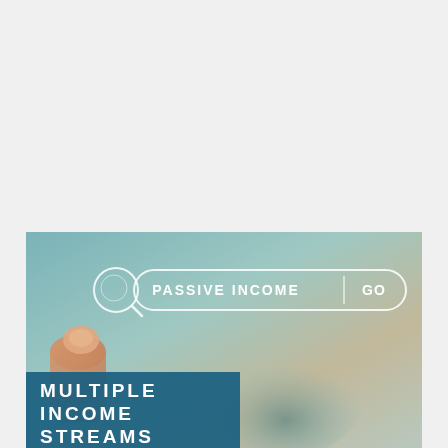[Figure (photo): A photo showing a finger pointing at a virtual search bar with the text 'PASSIVE INCOME' and a 'GO' button, overlaid with a dark teal banner reading 'MULTIPLE INCOME STREAMS' in bold white uppercase letters. The background has a blurred teal/beige gradient.]